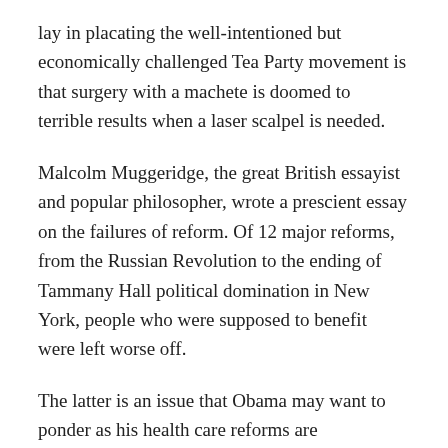lay in placating the well-intentioned but economically challenged Tea Party movement is that surgery with a machete is doomed to terrible results when a laser scalpel is needed.
Malcolm Muggeridge, the great British essayist and popular philosopher, wrote a prescient essay on the failures of reform. Of 12 major reforms, from the Russian Revolution to the ending of Tammany Hall political domination in New York, people who were supposed to benefit were left worse off.
The latter is an issue that Obama may want to ponder as his health care reforms are implemented. Without a public option to benchmark prices, he may have covered more Americans but, in so doing, allowed for prices to further escalate.